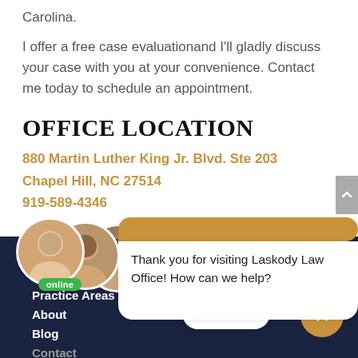Carolina.
I offer a free case evaluationand I'll gladly discuss your case with you at your convenience. Contact me today to schedule an appointment.
OFFICE LOCATION
880 Martin Luther King Jr. Blvd. Ste 203
Chapel Hill, NC 27514
919-589-4346
[Figure (photo): Three staff member circular profile photos with an 'online' badge below them]
Thank you for visiting Laskody Law Office! How can we help?
Home
Elective Share
Practice Areas
About
Blog
Contact